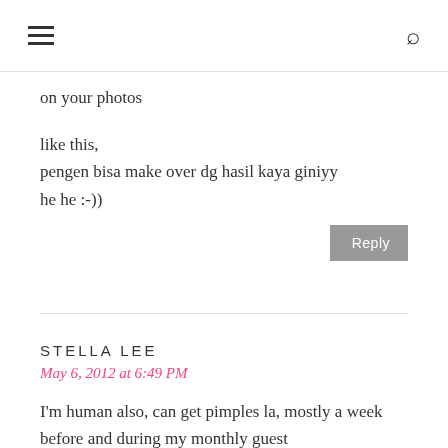≡  🔍
on your photos
like this,
pengen bisa make over dg hasil kaya giniyy
he he :-))
Reply
STELLA LEE
May 6, 2012 at 6:49 PM
I'm human also, can get pimples la, mostly a week before and during my monthly guest